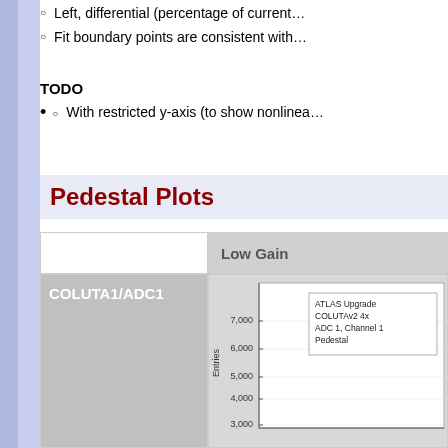Left, differential (percentage of current…
Fit boundary points are consistent with…
TODO
With restricted y-axis (to show nonlinea…
Pedestal Plots
|  | Low Gain |
| --- | --- |
| COLUTA1/ADC1 | [chart] |
[Figure (continuous-plot): ATLAS Upgrade COLUTAv2 4x ADC 1, Channel 1 Pedestal histogram showing Entries on y-axis (3,000 to 7,000) vs ADC counts on x-axis]